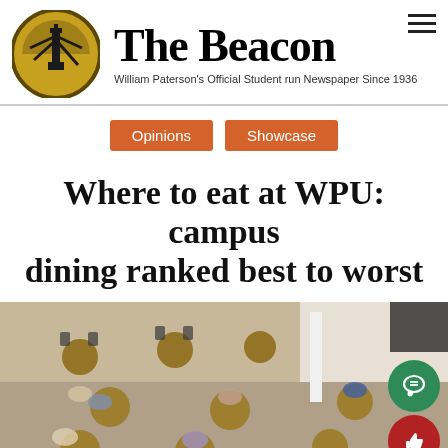[Figure (logo): The Beacon newspaper logo: circular emblem with lighthouse silhouette on golden background, beside masthead title 'The Beacon' in blackletter font with subtitle 'William Paterson's Official Student run Newspaper Since 1936']
Opinions   Showcase
Where to eat at WPU: campus dining ranked best to worst
[Figure (photo): Aerial view of a busy campus dining hall with students seated at round wooden tables with chairs, bright interior space with white walls]